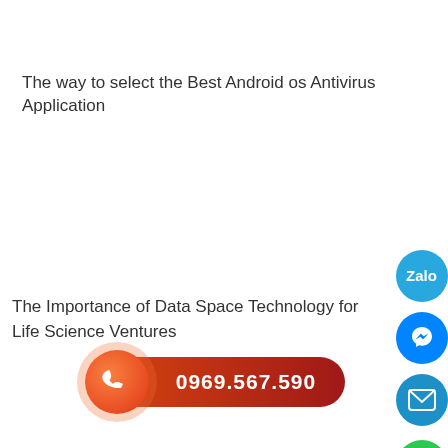The way to select the Best Android os Antivirus Application
The Importance of Data Space Technology for Life Science Ventures
[Figure (infographic): Floating social/contact buttons on the right side: Zalo (blue circle), Messenger (blue circle), Email (blue circle with envelope icon), and a green scroll-to-top button.]
[Figure (infographic): A call-to-action phone button: orange circular icon with phone symbol on the left, attached to a red pill-shaped bar displaying the phone number 0969.567.590 in white bold text.]